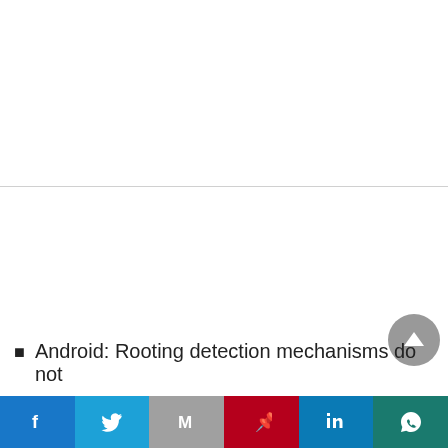[Figure (screenshot): Screenshot of a web page or document viewer showing a white content area with a modal close button (X) in the top right, a scroll-to-top arrow button in the lower right, and a list item beginning with 'Android: Rooting detection mechanisms do not' at the bottom. A social share bar runs along the very bottom with Facebook, Twitter, Gmail, Pinterest, LinkedIn, and WhatsApp icons.]